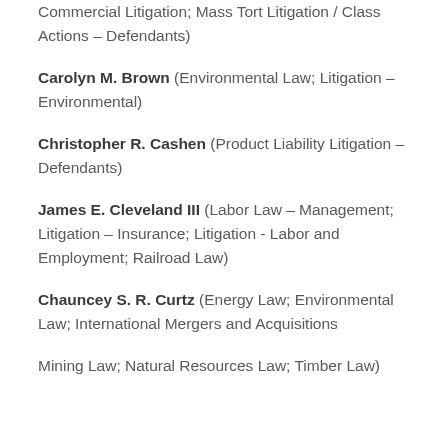Commercial Litigation; Mass Tort Litigation / Class Actions – Defendants)
Carolyn M. Brown (Environmental Law; Litigation – Environmental)
Christopher R. Cashen (Product Liability Litigation – Defendants)
James E. Cleveland III (Labor Law – Management; Litigation – Insurance; Litigation - Labor and Employment; Railroad Law)
Chauncey S. R. Curtz (Energy Law; Environmental Law; International Mergers and Acquisitions
Mining Law; Natural Resources Law; Timber Law)